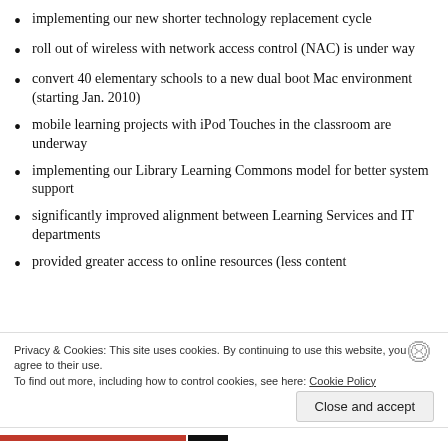implementing our new shorter technology replacement cycle
roll out of wireless with network access control (NAC) is under way
convert 40 elementary schools to a new dual boot Mac environment (starting Jan. 2010)
mobile learning projects with iPod Touches in the classroom are underway
implementing our Library Learning Commons model for better system support
significantly improved alignment between Learning Services and IT departments
provided greater access to online resources (less content
Privacy & Cookies: This site uses cookies. By continuing to use this website, you agree to their use.
To find out more, including how to control cookies, see here: Cookie Policy
Close and accept